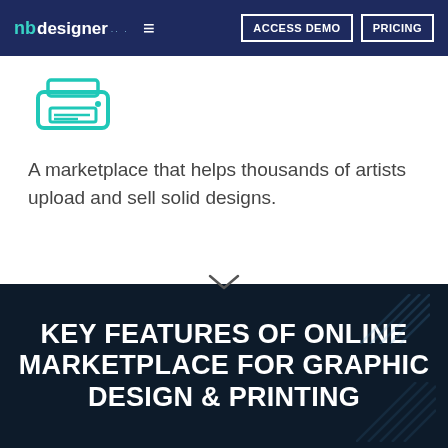nbdesigner — ACCESS DEMO | PRICING
[Figure (illustration): Teal icon of a printer/scanner device]
A marketplace that helps thousands of artists upload and sell solid designs.
KEY FEATURES OF ONLINE MARKETPLACE FOR GRAPHIC DESIGN & PRINTING